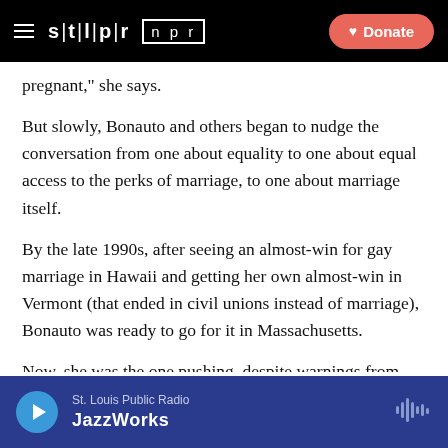STLPR NPR | Donate
pregnant," she says.
But slowly, Bonauto and others began to nudge the conversation from one about equality to one about equal access to the perks of marriage, to one about marriage itself.
By the late 1990s, after seeing an almost-win for gay marriage in Hawaii and getting her own almost-win in Vermont (that ended in civil unions instead of marriage), Bonauto was ready to go for it in Massachusetts.
Now, she was the one pushing, despite warnings from others that it was still too soon. "We had never won
St. Louis Public Radio | JazzWorks